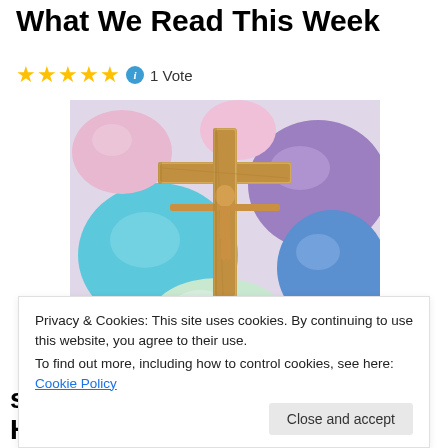What We Read This Week
★★★★★ ℹ 1 Vote
[Figure (photo): Photo of a gold crucifix surrounded by colorful dyed Easter eggs in shades of blue, purple, pink, yellow, and multicolor.]
Privacy & Cookies: This site uses cookies. By continuing to use this website, you agree to their use.
To find out more, including how to control cookies, see here: Cookie Policy
stories from around the web. Here's what